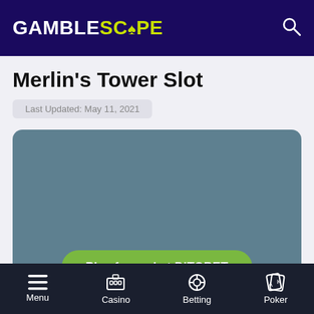GAMBLESCOPE
Merlin's Tower Slot
Last Updated: May 11, 2021
[Figure (screenshot): Teal/slate colored game embed area with a green 'Play for real at DiTOBET' button at the bottom]
Menu | Casino | Betting | Poker